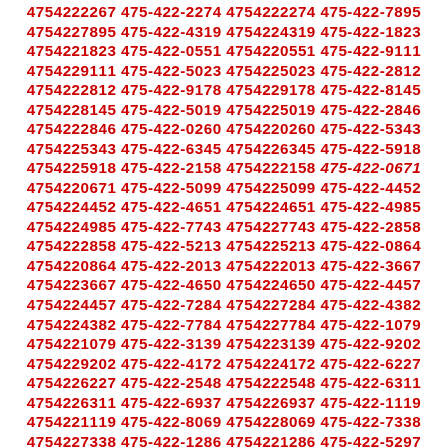4754222267 475-422-2274 4754222274 475-422-7895 4754227895 475-422-4319 4754224319 475-422-1823 4754221823 475-422-0551 4754220551 475-422-9111 4754229111 475-422-5023 4754225023 475-422-2812 4754222812 475-422-9178 4754229178 475-422-8145 4754228145 475-422-5019 4754225019 475-422-2846 4754222846 475-422-0260 4754220260 475-422-5343 4754225343 475-422-6345 4754226345 475-422-5918 4754225918 475-422-2158 4754222158 475-422-0671 4754220671 475-422-5099 4754225099 475-422-4452 4754224452 475-422-4651 4754224651 475-422-4985 4754224985 475-422-7743 4754227743 475-422-2858 4754222858 475-422-5213 4754225213 475-422-0864 4754220864 475-422-2013 4754222013 475-422-3667 4754223667 475-422-4650 4754224650 475-422-4457 4754224457 475-422-7284 4754227284 475-422-4382 4754224382 475-422-7784 4754227784 475-422-1079 4754221079 475-422-3139 4754223139 475-422-9202 4754229202 475-422-4172 4754224172 475-422-6227 4754226227 475-422-2548 4754222548 475-422-6311 4754226311 475-422-6937 4754226937 475-422-1119 4754221119 475-422-8069 4754228069 475-422-7338 4754227338 475-422-1286 4754221286 475-422-5297 4754225297 475-422-5934 4754225934 475-422-2329 4754222329 475-422-1698 4754221698 475-422-6706